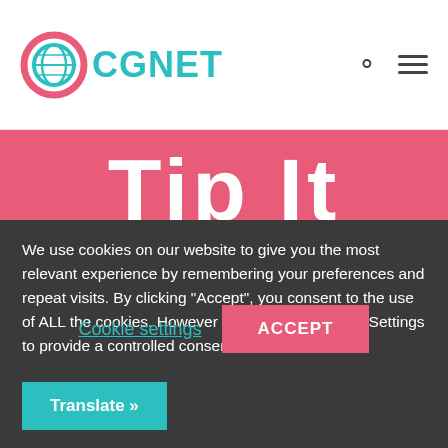[Figure (logo): CGNET logo with globe icon in pink/teal and teal CGNET text]
Tip It
We use cookies on our website to give you the most relevant experience by remembering your preferences and repeat visits. By clicking “Accept”, you consent to the use of ALL the cookies. However you may visit Cookie Settings to provide a controlled consent.
Cookie settings
ACCEPT
Translate »